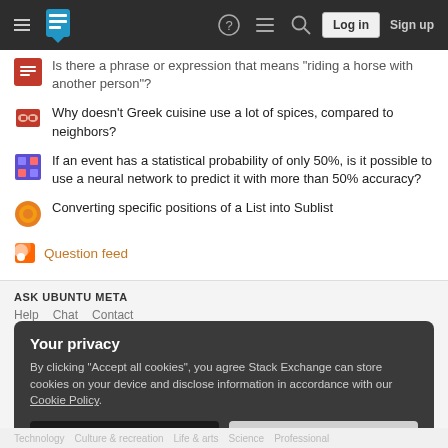Stack Exchange navigation bar with hamburger menu, logo, help, chat, search icons, Log in and Sign up buttons
Is there a phrase or expression that means "riding a horse with another person"?
Why doesn't Greek cuisine use a lot of spices, compared to neighbors?
If an event has a statistical probability of only 50%, is it possible to use a neural network to predict it with more than 50% accuracy?
Converting specific positions of a List into Sublist
Question feed
ASK UBUNTU META
Help  Chat  Contact
Your privacy
By clicking "Accept all cookies", you agree Stack Exchange can store cookies on your device and disclose information in accordance with our Cookie Policy.
Accept all cookies
Customize settings
Technology  Culture & recreation  Life & arts  Science  Professional